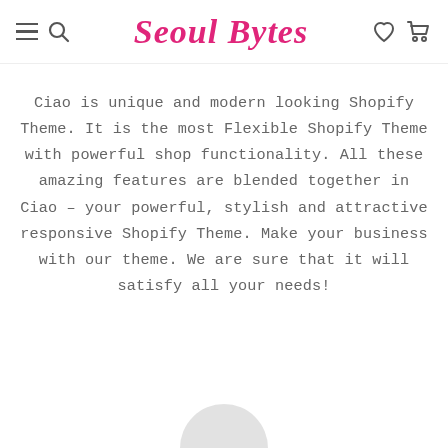Seoul Bytes — navigation header with hamburger menu, search, heart, and cart icons
Ciao is unique and modern looking Shopify Theme. It is the most Flexible Shopify Theme with powerful shop functionality. All these amazing features are blended together in Ciao – your powerful, stylish and attractive responsive Shopify Theme. Make your business with our theme. We are sure that it will satisfy all your needs!